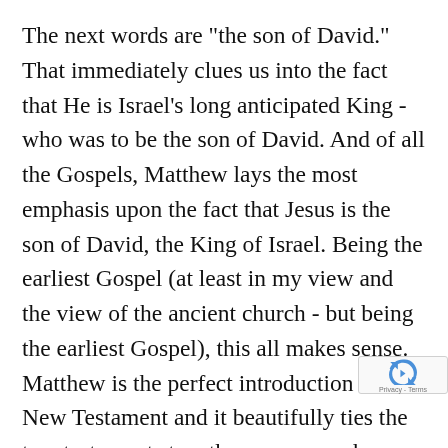The next words are "the son of David." That immediately clues us into the fact that He is Israel's long anticipated King - who was to be the son of David. And of all the Gospels, Matthew lays the most emphasis upon the fact that Jesus is the son of David, the King of Israel. Being the earliest Gospel (at least in my view and the view of the ancient church - but being the earliest Gospel), this all makes sense. Matthew is the perfect introduction to the New Testament and it beautifully ties the two testaments together as one work. Anyway, the term, "the son of David," was a phrase constantly used by the rabbis of the first century to refer to the coming Mes... So again, he is not beating around the bush...